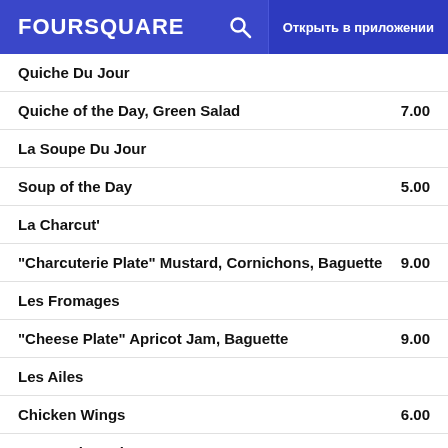FOURSQUARE  Открыть в приложении
Quiche Du Jour
Quiche of the Day, Green Salad  7.00
La Soupe Du Jour
Soup of the Day  5.00
La Charcut'
"Charcuterie Plate" Mustard, Cornichons, Baguette  9.00
Les Fromages
"Cheese Plate" Apricot Jam, Baguette  9.00
Les Ailes
Chicken Wings  6.00
Les Moules-Frites
Mussels with Fries  9.00